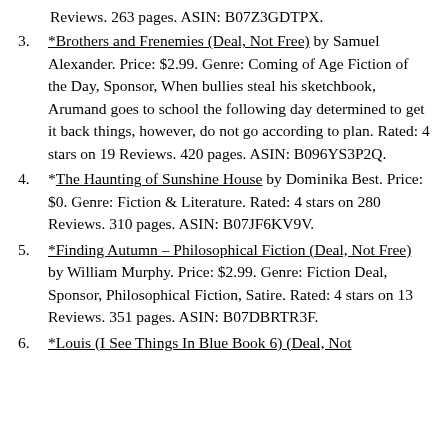Reviews. 263 pages. ASIN: B07Z3GDTPX.
*Brothers and Frenemies (Deal, Not Free) by Samuel Alexander. Price: $2.99. Genre: Coming of Age Fiction of the Day, Sponsor, When bullies steal his sketchbook, Arumand goes to school the following day determined to get it back things, however, do not go according to plan. Rated: 4 stars on 19 Reviews. 420 pages. ASIN: B096YS3P2Q.
*The Haunting of Sunshine House by Dominika Best. Price: $0. Genre: Fiction & Literature. Rated: 4 stars on 280 Reviews. 310 pages. ASIN: B07JF6KV9V.
*Finding Autumn – Philosophical Fiction (Deal, Not Free) by William Murphy. Price: $2.99. Genre: Fiction Deal, Sponsor, Philosophical Fiction, Satire. Rated: 4 stars on 13 Reviews. 351 pages. ASIN: B07DBRTR3F.
*Louis (I See Things In Blue Book 6) (Deal, Not